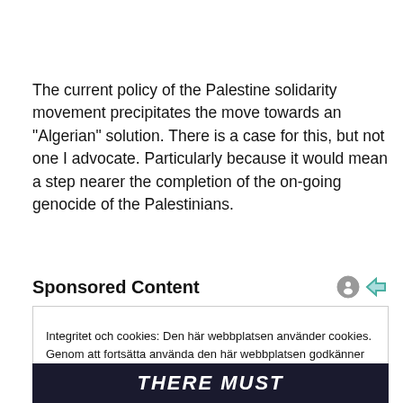The current policy of the Palestine solidarity movement precipitates the move towards an "Algerian" solution. There is a case for this, but not one I advocate. Particularly because it would mean a step nearer the completion of the on-going genocide of the Palestinians.
Sponsored Content
Integritet och cookies: Den här webbplatsen använder cookies. Genom att fortsätta använda den här webbplatsen godkänner du deras användning.
Om du vill veta mer, inklusive hur du kontrollerar cookies, se: Cookie-policy
Stäng och acceptera
[Figure (photo): Dark banner at bottom showing partial text 'THERE MUST' in white bold italic letters]